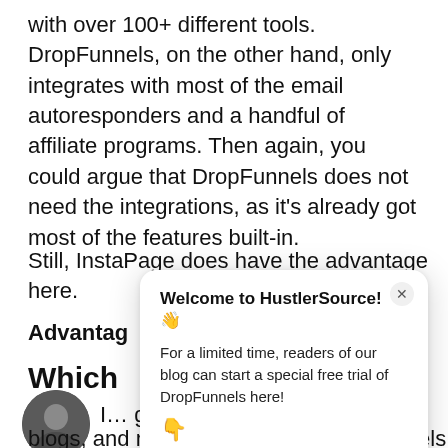with over 100+ different tools. DropFunnels, on the other hand, only integrates with most of the email autoresponders and a handful of affiliate programs. Then again, you could argue that DropFunnels does not need the integrations, as it's already got most of the features built-in.
Still, InstaPage does have the advantage here.
Advantage…
Which…
[Figure (other): Round avatar photo of a person in dark clothing, partially obscured by popup]
I… gr… sp… cr…
blogs, and membership sites, DropFunnels has a huge
[Figure (screenshot): Popup modal overlay with title 'Welcome to HustlerSource! 👋', body text 'For a limited time, readers of our blog can start a special free trial of DropFunnels here!', a pointing down emoji, a blue CTA button reading 'Try DropFunnels now', and an X close button in the top right corner.]